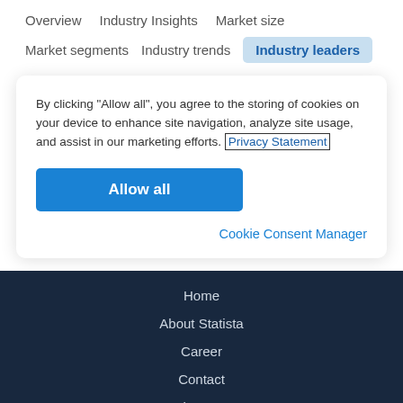Overview   Industry Insights   Market size
Market segments   Industry trends   Industry leaders
By clicking “Allow all”, you agree to the storing of cookies on your device to enhance site navigation, analyze site usage, and assist in our marketing efforts. Privacy Statement
Allow all
Cookie Consent Manager
Home
About Statista
Career
Contact
Help & FAQ